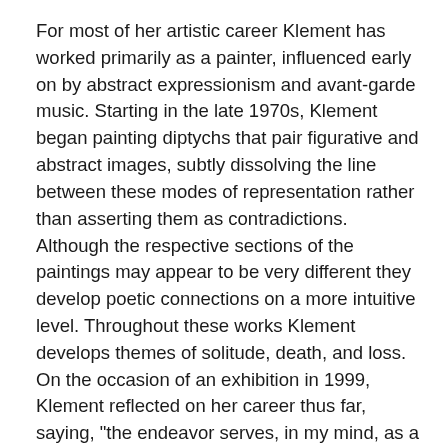For most of her artistic career Klement has worked primarily as a painter, influenced early on by abstract expressionism and avant-garde music. Starting in the late 1970s, Klement began painting diptychs that pair figurative and abstract images, subtly dissolving the line between these modes of representation rather than asserting them as contradictions. Although the respective sections of the paintings may appear to be very different they develop poetic connections on a more intuitive level. Throughout these works Klement develops themes of solitude, death, and loss. On the occasion of an exhibition in 1999, Klement reflected on her career thus far, saying, "the endeavor serves, in my mind, as a memorial, a marker, for all those who were silenced in totalitarian states and those whose voices rose from that silence. And the silence itself."
In her more recent multi-media works on paper, Klement gives shape to meditations on war and death while further exploring the possible effects of pairing images. The War Monody series, which Klement began in 2003, combines